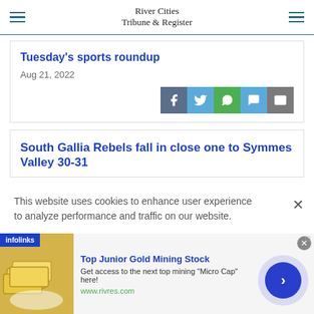River Cities Tribune & Register
Tuesday's sports roundup
Aug 21, 2022
South Gallia Rebels fall in close one to Symmes Valley 30-31
This website uses cookies to enhance user experience to analyze performance and traffic on our website.
Top Junior Gold Mining Stock
Get access to the next top mining "Micro Cap" here!
www.rivres.com